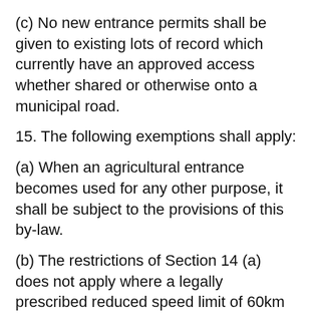(c) No new entrance permits shall be given to existing lots of record which currently have an approved access whether shared or otherwise onto a municipal road.
15. The following exemptions shall apply:
(a) When an agricultural entrance becomes used for any other purpose, it shall be subject to the provisions of this by-law.
(b) The restrictions of Section 14 (a) does not apply where a legally prescribed reduced speed limit of 60km or less has be established and the Public Works Manager is satisfied that all visibility and safety requirement have been met.
(c) When a second entrance may be required to